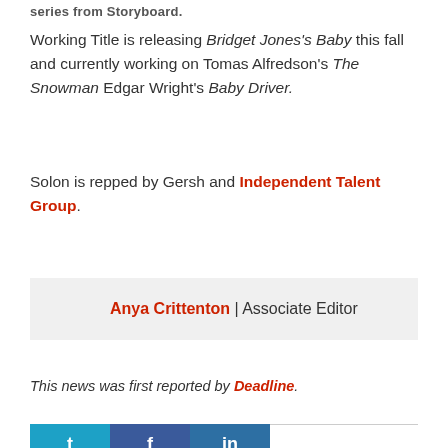series from Storyboard.
Working Title is releasing Bridget Jones's Baby this fall and currently working on Tomas Alfredson's The Snowman Edgar Wright's Baby Driver.
Solon is repped by Gersh and Independent Talent Group.
Anya Crittenton | Associate Editor
This news was first reported by Deadline.